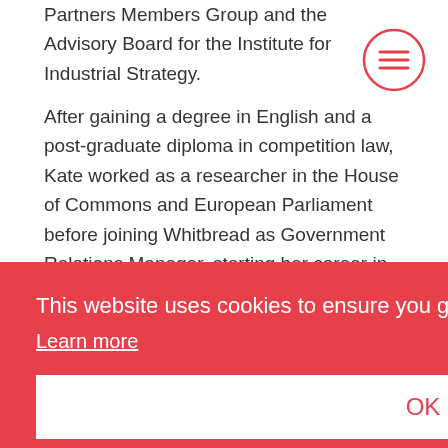Partners Members Group and the Advisory Board for the Institute for Industrial Strategy.
After gaining a degree in English and a post-graduate diploma in competition law, Kate worked as a researcher in the House of Commons and European Parliament before joining Whitbread as Government Relations Manager, starting her career in hospitality in 1993. Kate was Director at one of
es,
. She
e and
A highly motivated Board-level adviser with a
This website uses cookies to ensure you get the best experience on our website. Learn more OK